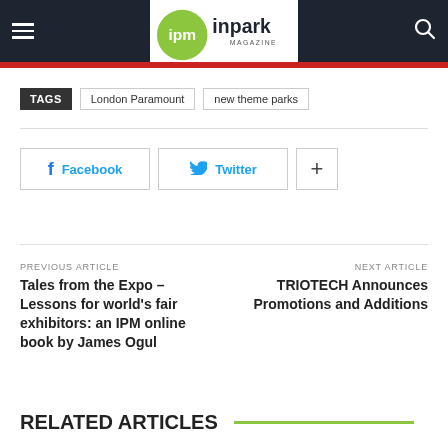ipm inpark MAGAZINE
TAGS  London Paramount  new theme parks
Facebook  Twitter  +
PREVIOUS ARTICLE
Tales from the Expo – Lessons for world's fair exhibitors: an IPM online book by James Ogul
NEXT ARTICLE
TRIOTECH Announces Promotions and Additions
RELATED ARTICLES